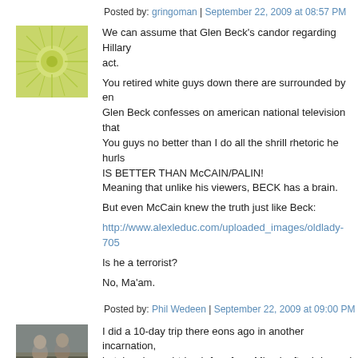Posted by: gringoman | September 22, 2009 at 08:57 PM
[Figure (illustration): Green circular avatar with radiating lines pattern]
We can assume that Glen Beck's candor regarding Hillary act. You retired white guys down there are surrounded by en Glen Beck confesses on american national television that You guys no better than I do all the shrill rhetoric he hurls IS BETTER THAN McCAIN/PALIN! Meaning that unlike his viewers, BECK has a brain.

But even McCain knew the truth just like Beck:

http://www.alexleduc.com/uploaded_images/oldlady-705

Is he a terrorist?

No, Ma'am.
Posted by: Phil Wedeen | September 22, 2009 at 09:00 PM
[Figure (photo): Photo of two people outdoors]
I did a 10-day trip there eons ago in another incarnation, hotel and round-trip air fare from Miami, after I drove do was a Trotskyite.) ---GRINGOMAN